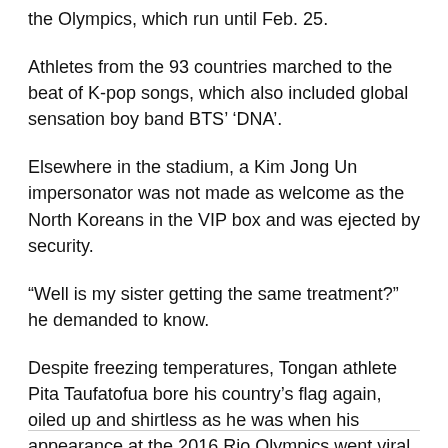the Olympics, which run until Feb. 25.
Athletes from the 93 countries marched to the beat of K-pop songs, which also included global sensation boy band BTS’ ‘DNA’.
Elsewhere in the stadium, a Kim Jong Un impersonator was not made as welcome as the North Koreans in the VIP box and was ejected by security.
“Well is my sister getting the same treatment?” he demanded to know.
Despite freezing temperatures, Tongan athlete Pita Taufatofua bore his country’s flag again, oiled up and shirtless as he was when his appearance at the 2016 Rio Olympics went viral. -Reuters